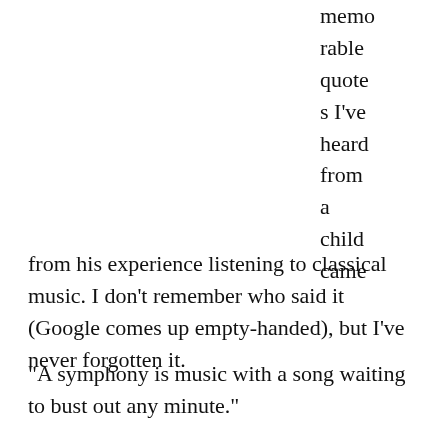memorable quotes I've heard from a child came
from his experience listening to classical music. I don't remember who said it (Google comes up empty-handed), but I've never forgotten it.
“A symphony is music with a song waiting to bust out any minute.”